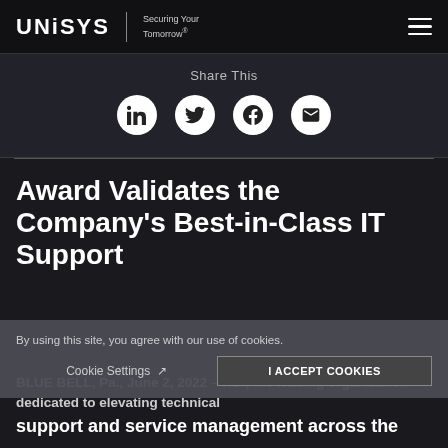UNISYS | Securing Your Tomorrow®
Share This
[Figure (infographic): Four white circular social media icons: LinkedIn, Twitter, Facebook, Email]
Award Validates the Company's Best-in-Class IT Support
By using this site, you agree with our use of cookies.
Cookie Settings  |  I ACCEPT COOKIES
BLUE BELL, Pa., June 2, 2022 – HDI, the leading organization dedicated to elevating technical support and service management across the